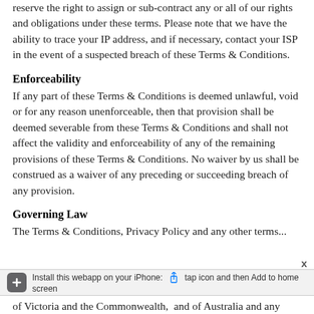reserve the right to assign or sub-contract any or all of our rights and obligations under these terms. Please note that we have the ability to trace your IP address, and if necessary, contact your ISP in the event of a suspected breach of these Terms & Conditions.
Enforceability
If any part of these Terms & Conditions is deemed unlawful, void or for any reason unenforceable, then that provision shall be deemed severable from these Terms & Conditions and shall not affect the validity and enforceability of any of the remaining provisions of these Terms & Conditions. No waiver by us shall be construed as a waiver of any preceding or succeeding breach of any provision.
Governing Law
The Terms & Conditions, Privacy Policy and any other terms...
[Figure (screenshot): iOS Safari 'Add to Home Screen' banner at bottom of page, with a dark grey plus button, share icon, and text: Install this webapp on your iPhone: [share icon] tap icon and then Add to home screen]
of Victoria and the Commonwealth, and of Australia and any